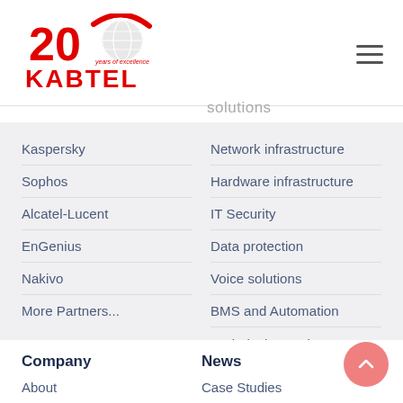[Figure (logo): Kabtel logo with '20 years of excellence' badge in red and white]
solutions
Kaspersky
Network infrastructure
Sophos
Hardware infrastructure
Alcatel-Lucent
IT Security
EnGenius
Data protection
Nakivo
Voice solutions
More Partners...
BMS and Automation
Technical Security Systems
Company
News
About
Case Studies
Mission, Vision and Values
News & Blog